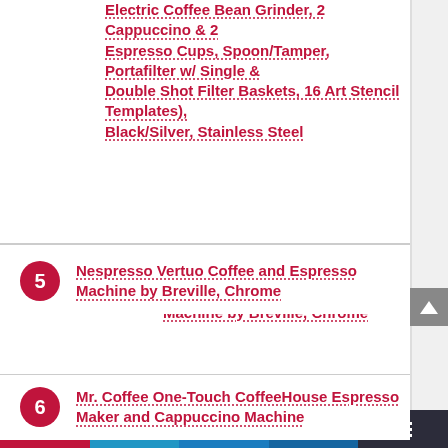Electric Coffee Bean Grinder, 2 Cappuccino & 2 Espresso Cups, Spoon/Tamper, Portafilter w/ Single & Double Shot Filter Baskets, 16 Art Stencil Templates), Black/Silver, Stainless Steel
5 Nespresso Vertuo Coffee and Espresso Machine by Breville, Chrome
6 Mr. Coffee One-Touch CoffeeHouse Espresso Maker and Cappuccino Machine
7 Mueller Espresso Machine for Nespresso Compatible Capsule, Premium Italian 20 Bar High Pressure Pump, 25s Fast Heating with Energy Saving System, Programmable Buttons for...